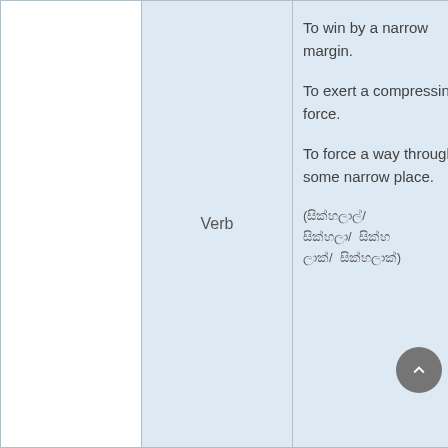|  | Part of Speech | Definition | Examples |
| --- | --- | --- | --- |
|  | Verb | To win by a narrow margin.

To exert a compressing force.

To force a way through some narrow place.

(සිංහල/ ශ්‍රී/ ශ්‍රී ලංකා/ සිංහල) | C
M
C
F
E |